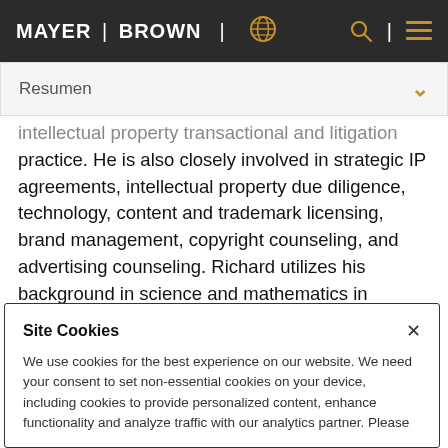MAYER | BROWN
Resumen
intellectual property transactional and litigation practice. He is also closely involved in strategic IP agreements, intellectual property due diligence, technology, content and trademark licensing, brand management, copyright counseling, and advertising counseling. Richard utilizes his background in science and mathematics in connection with complex patent litigation and
Site Cookies
We use cookies for the best experience on our website. We need your consent to set non-essential cookies on your device, including cookies to provide personalized content, enhance functionality and analyze traffic with our analytics partner. Please